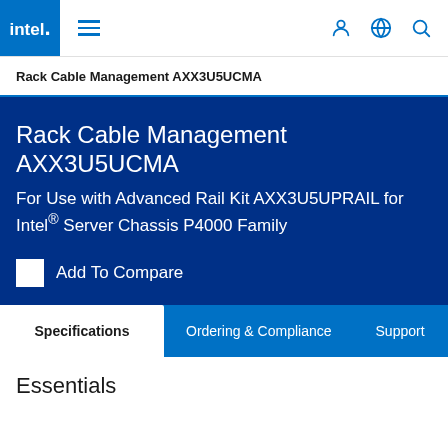intel. ☰ 👤 🌐 🔍
Rack Cable Management AXX3U5UCMA
Rack Cable Management AXX3U5UCMA
For Use with Advanced Rail Kit AXX3U5UPRAIL for Intel® Server Chassis P4000 Family
Add To Compare
Specifications
Ordering & Compliance
Support
Essentials